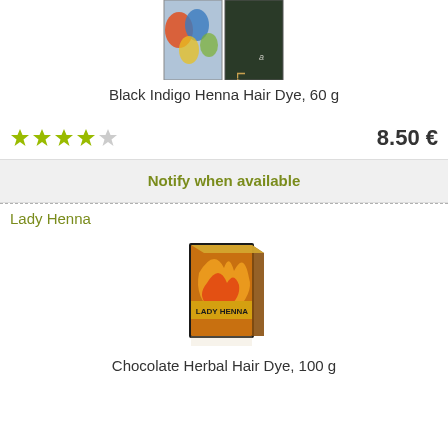[Figure (photo): Product image of Black Indigo Henna Hair Dye boxes (two boxes shown, cropped at top)]
Black Indigo Henna Hair Dye, 60 g
★★★★☆   8.50 €
Notify when available
Lady Henna
[Figure (photo): Product image of Chocolate Herbal Hair Dye box (Lady Henna brand, orange/gold packaging)]
Chocolate Herbal Hair Dye, 100 g